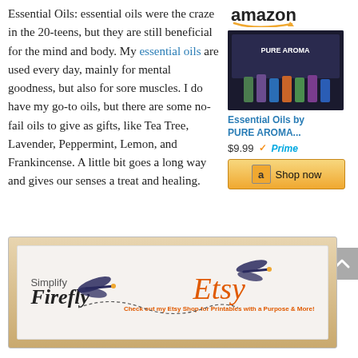Essential Oils: essential oils were the craze in the 20-teens, but they are still beneficial for the mind and body. My essential oils are used every day, mainly for mental goodness, but also for sore muscles. I do have my go-to oils, but there are some no-fail oils to give as gifts, like Tea Tree, Lavender, Peppermint, Lemon, and Frankincense. A little bit goes a long way and gives our senses a treat and healing.
[Figure (other): Amazon product ad for Essential Oils by PURE AROMA with price $9.99 and Prime badge, Shop now button]
[Figure (other): Simplify Firefly Etsy shop banner with dragonfly illustrations and text: Check out my Etsy Shop for Printables with a Purpose & More!]